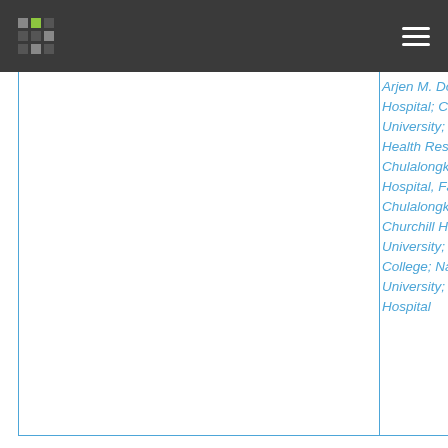[Figure (screenshot): Top navigation bar with dark background, logo grid (dots with green accent), and hamburger menu icon on the right]
Arjen M. Dondorp; Ispat General Hospital; Chulalongkorn University; Menzies School of Health Research; King Chulalongkorn Memorial Hospital, Faculty of Medicine Chulalongkorn University; Churchill Hospital; Mahidol University; Chittagong Medical College; Nanyang Technological University; Tan Tock Seng Hospital